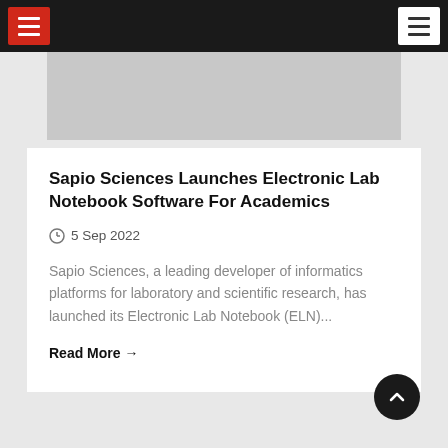Navigation bar with red hamburger menu and white hamburger menu
[Figure (photo): Gray placeholder image area for article hero image]
Sapio Sciences Launches Electronic Lab Notebook Software For Academics
5 Sep 2022
Sapio Sciences, a leading developer of informatics platforms for laboratory and scientific research, has launched its Electronic Lab Notebook (ELN)...
Read More →